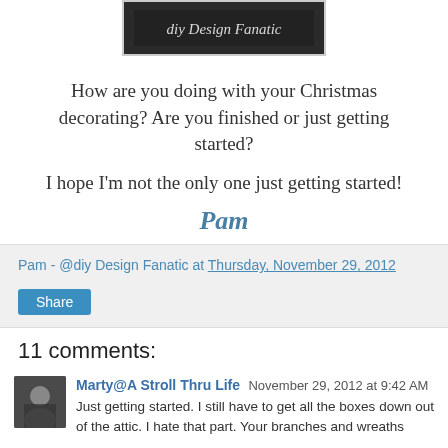[Figure (photo): Banner/header image for 'diy Design Fanatic' blog with dark background and decorative script text]
How are you doing with your Christmas decorating? Are you finished or just getting started?
I hope I'm not the only one just getting started!
Pam
Pam - @diy Design Fanatic at Thursday, November 29, 2012
Share
11 comments:
Marty@A Stroll Thru Life November 29, 2012 at 9:42 AM
Just getting started. I still have to get all the boxes down out of the attic. I hate that part. Your branches and wreaths